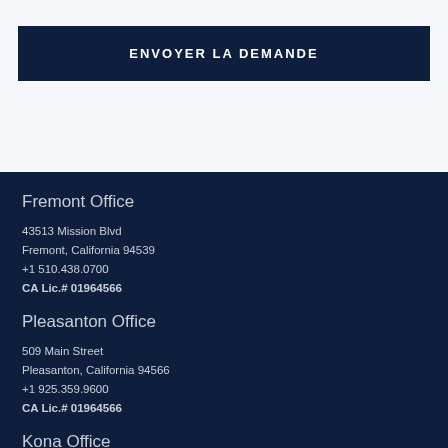ENVOYER LA DEMANDE
Fremont Office
43513 Mission Blvd
Fremont, California 94539
+1 510.438.0700
CA Lic.# 01964566
Pleasanton Office
509 Main Street
Pleasanton, California 94566
+1 925.359.9600
CA Lic.# 01964566
Kona Office